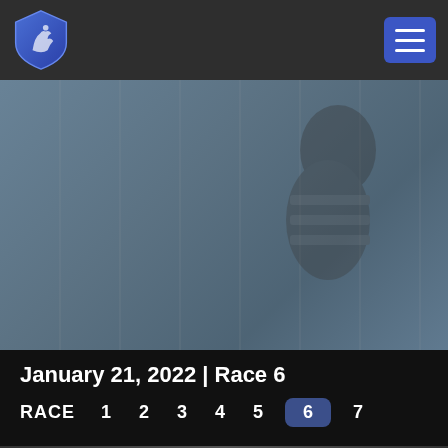[Figure (screenshot): Navigation bar with a blue shield logo on the left and a blue hamburger menu button on the right, on a dark gray background]
[Figure (photo): Hero image: a muted blue-gray photograph of a racing jockey on horseback, partially visible on the right side, with the image darkened/blurred]
January 21, 2022 | Race 6
RACE  1  2  3  4  5  6  7